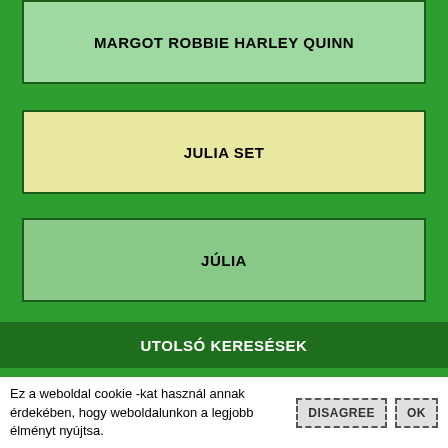MARGOT ROBBIE HARLEY QUINN
JULIA SET
JÚLIA
UTOLSÓ KERESÉSEK
Ez a weboldal cookie -kat használ annak érdekében, hogy weboldalunkon a legjobb élményt nyújtsa.
DISAGREE
OK